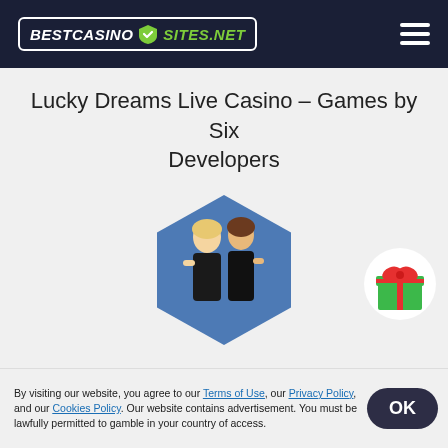BESTCASINO SITES.NET
Lucky Dreams Live Casino – Games by Six Developers
[Figure (illustration): Hexagonal badge with two female casino dealers in black outfits against a blue hexagon background]
Our Lucky Dreams casino review for NZ continues with a general overview of the live casino catalogue. There are over 220 real-dealer titles available at this New Zealand gambling destination. The games have been developed by not one but six quality software providers – Evolution, Playtech, Pragmatic Play, Authentic Gaming and Lucky Streak. You can find a variety of table games and game shows. There is also a category under the
[Figure (illustration): Green gift box with red bow icon]
By visiting our website, you agree to our Terms of Use, our Privacy Policy, and our Cookies Policy. Our website contains advertisement. You must be lawfully permitted to gamble in your country of access.